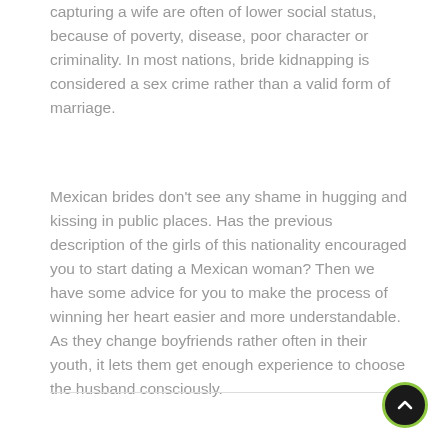capturing a wife are often of lower social status, because of poverty, disease, poor character or criminality. In most nations, bride kidnapping is considered a sex crime rather than a valid form of marriage.
Mexican brides don't see any shame in hugging and kissing in public places. Has the previous description of the girls of this nationality encouraged you to start dating a Mexican woman? Then we have some advice for you to make the process of winning her heart easier and more understandable. As they change boyfriends rather often in their youth, it lets them get enough experience to choose the husband consciously.